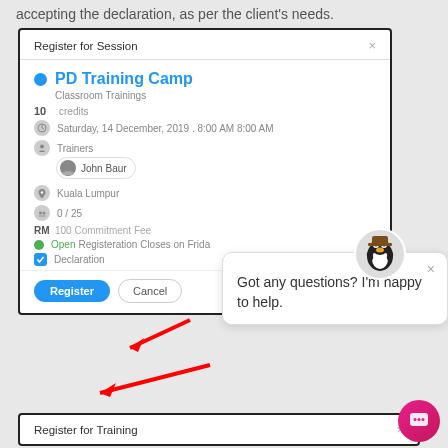accepting the declaration, as per the client's needs.
[Figure (screenshot): Register for Session modal dialog showing PD Training Camp details (Classroom Trainings, 10 credits, Saturday 14 December 2019 8:00 AM, Trainer John Baur, Kuala Lumpur, 0/25 capacity, RM 100 Commitment Fee, Open Registration Closes on Friday), Declaration checkbox checked, Register and Cancel buttons. A chatbot bubble overlays saying 'Got any questions? I'm happy to help.' with a penguin mascot. Red arrows point to Declaration checkbox and Register button. A pink chat button is in the bottom right.]
Register for Training